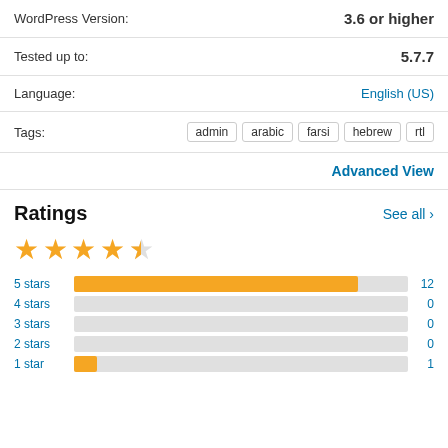WordPress Version: 3.6 or higher
Tested up to: 5.7.7
Language: English (US)
Tags: admin arabic farsi hebrew rtl
Advanced View
Ratings
[Figure (bar-chart): Ratings]